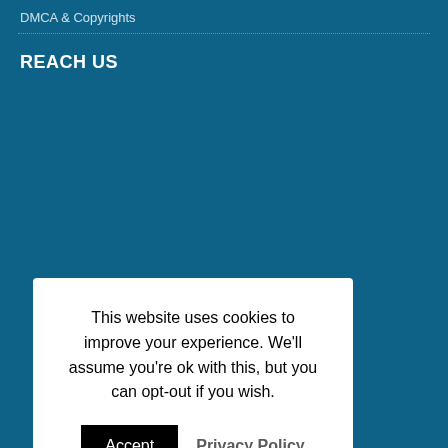DMCA & Copyrights
REACH US
This website uses cookies to improve your experience. We'll assume you're ok with this, but you can opt-out if you wish.
Accept   Privacy Policy